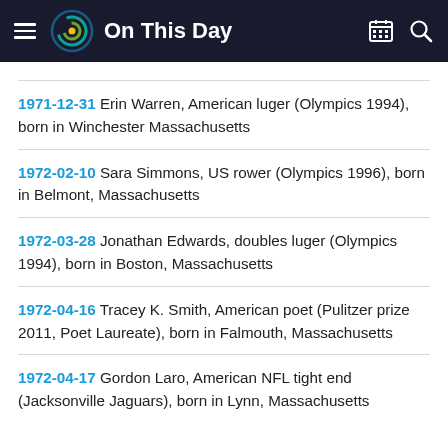On This Day
1971-12-31 Erin Warren, American luger (Olympics 1994), born in Winchester Massachusetts
1972-02-10 Sara Simmons, US rower (Olympics 1996), born in Belmont, Massachusetts
1972-03-28 Jonathan Edwards, doubles luger (Olympics 1994), born in Boston, Massachusetts
1972-04-16 Tracey K. Smith, American poet (Pulitzer prize 2011, Poet Laureate), born in Falmouth, Massachusetts
1972-04-17 Gordon Laro, American NFL tight end (Jacksonville Jaguars), born in Lynn, Massachusetts